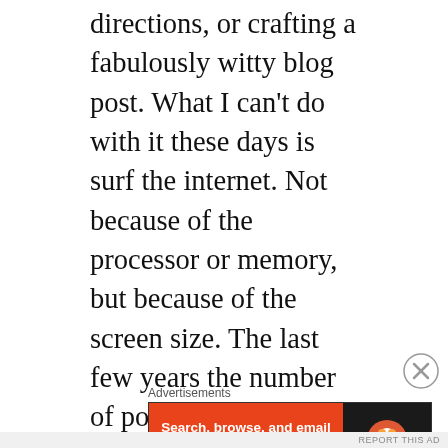directions, or crafting a fabulously witty blog post. What I can't do with it these days is surf the internet. Not because of the processor or memory, but because of the screen size. The last few years the number of popup ads have gotten so out of control on some web sites you literally can't read the article or content when you have limited screen real estate. There's now the EU mandatory cookie acceptance popup. Twelve other ads that will be in various states of loading. A popup apologizing for the popup, but while you're here will you subscribe to
[Figure (other): Close/dismiss button (circled X icon) in the top-right area of the page]
Advertisements
[Figure (infographic): DuckDuckGo advertisement banner: left side has orange background with text 'Search, browse, and email with more privacy. All in One Free App' and a white pill button; right side has dark background with DuckDuckGo duck logo and 'DuckDuckGo' text]
REPORT THIS AD